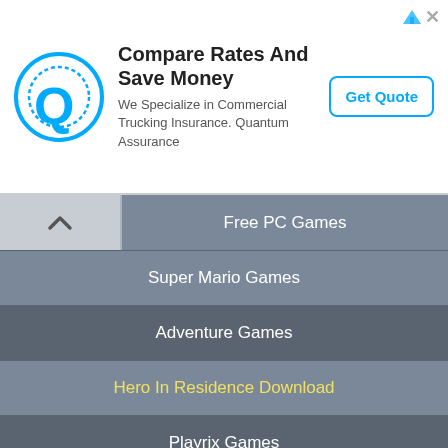[Figure (screenshot): Advertisement banner for Quantum Assurance commercial trucking insurance with logo, headline, body text, and Get Quote button]
Free PC Games
Super Mario Games
Adventure Games
Hero In Residence Download
Playrix Games
Free Online Games
About | Blog | Privacy | Terms/EULA | Uninstall | Contact | Sitemap